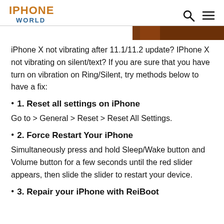IPHONE WORLD
[Figure (photo): Partial photo strip showing a hand holding an iPhone, visible at top of content area]
iPhone X not vibrating after 11.1/11.2 update? IPhone X not vibrating on silent/text? If you are sure that you have turn on vibration on Ring/Silent, try methods below to have a fix:
1. Reset all settings on iPhone
Go to > General > Reset > Reset All Settings.
2. Force Restart Your iPhone
Simultaneously press and hold Sleep/Wake button and Volume button for a few seconds until the red slider appears, then slide the slider to restart your device.
3. Repair your iPhone with ReiBoot